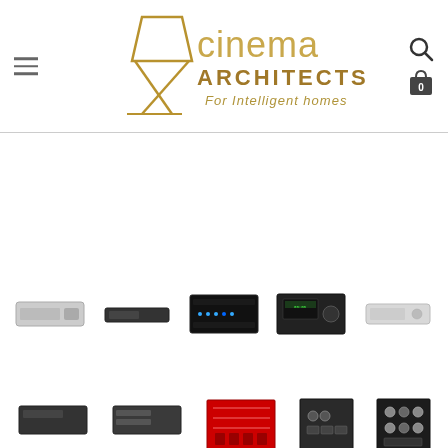[Figure (logo): Cinema Architects logo — geometric chair icon in gold/brown tones with text 'cinema ARCHITECTS For Intelligent homes' in gold gradient]
[Figure (photo): Navigation hamburger menu icon (three horizontal lines) on left side of header]
[Figure (photo): Search and shopping bag icons on right side of header]
[Figure (photo): Grid of product thumbnails showing various AV/audio equipment: amplifiers, receivers, media players in silver and black finishes — two rows of five thumbnail images each]